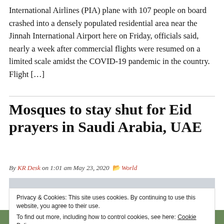International Airlines (PIA) plane with 107 people on board crashed into a densely populated residential area near the Jinnah International Airport here on Friday, officials said, nearly a week after commercial flights were resumed on a limited scale amidst the COVID-19 pandemic in the country. Flight […]
Mosques to stay shut for Eid prayers in Saudi Arabia, UAE
By KR Desk on 1:01 am May 23, 2020  World
[Figure (photo): Partial view of an aerial or ground-level scene, appears to be a news article image, mostly gray/light colored]
Privacy & Cookies: This site uses cookies. By continuing to use this website, you agree to their use.
To find out more, including how to control cookies, see here: Cookie Policy
Close and accept
[Figure (photo): Aerial view of a scene, green and urban colors visible at bottom of page]